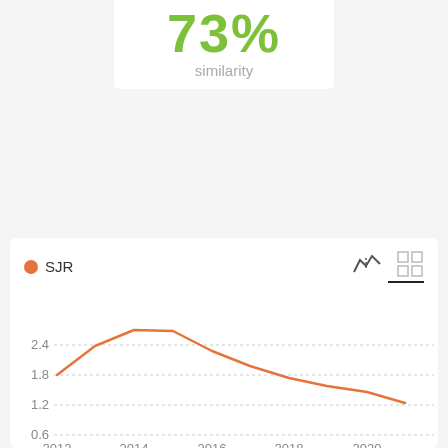73% similarity
[Figure (line-chart): SJR]